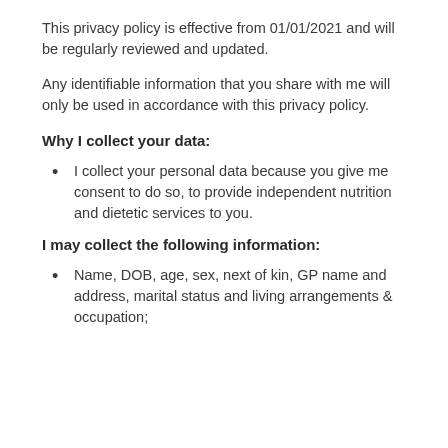This privacy policy is effective from 01/01/2021 and will be regularly reviewed and updated.
Any identifiable information that you share with me will only be used in accordance with this privacy policy.
Why I collect your data:
I collect your personal data because you give me consent to do so, to provide independent nutrition and dietetic services to you.
I may collect the following information:
Name, DOB, age, sex, next of kin, GP name and address, marital status and living arrangements & occupation;